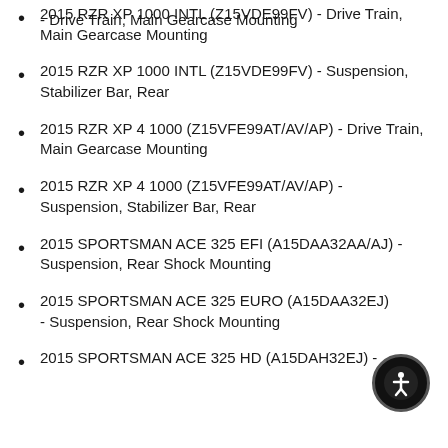- Drive Train, Main Gearcase Mounting
2015 RZR XP 1000 INTL (Z15VDE99FV) - Drive Train, Main Gearcase Mounting
2015 RZR XP 1000 INTL (Z15VDE99FV) - Suspension, Stabilizer Bar, Rear
2015 RZR XP 4 1000 (Z15VFE99AT/AV/AP) - Drive Train, Main Gearcase Mounting
2015 RZR XP 4 1000 (Z15VFE99AT/AV/AP) - Suspension, Stabilizer Bar, Rear
2015 SPORTSMAN ACE 325 EFI (A15DAA32AA/AJ) - Suspension, Rear Shock Mounting
2015 SPORTSMAN ACE 325 EURO (A15DAA32EJ) - Suspension, Rear Shock Mounting
2015 SPORTSMAN ACE 325 HD (A15DAH32EJ) -